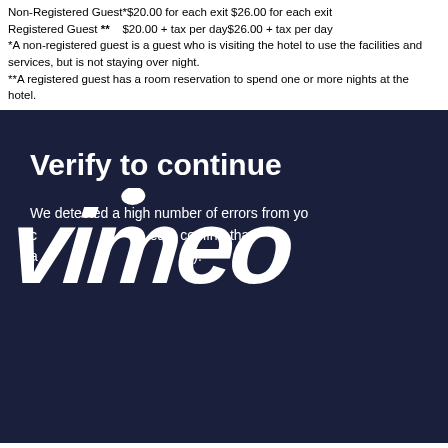Non-Registered Guest*$20.00 for each exit $26.00 for each exit Registered Guest **    $20.00 + tax per day$26.00 + tax per day *A non-registered guest is a guest who is visiting the hotel to use the facilities and services, but is not staying over night. **A registered guest has a room reservation to spend one or more nights at the hotel.
[Figure (screenshot): Vimeo 'Verify to continue' overlay screen with dark navy background. Shows 'Verify to continue' heading and text 'We detected a high number of errors from your connection. To continue, please confirm that you are a human (and not a spambot).' with large Vimeo wordmark logo overlaid.]